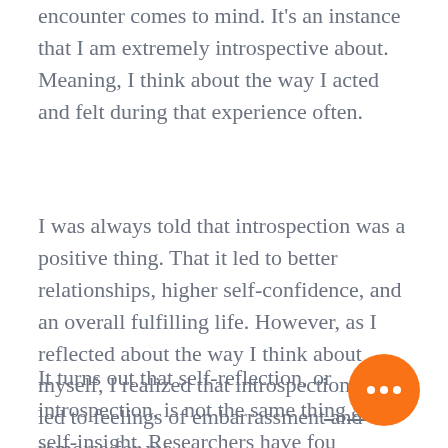encounter comes to mind. It's an instance that I am extremely introspective about. Meaning, I think about the way I acted and felt during that experience often.
I was always told that introspection was a positive thing. That it led to better relationships, higher self-confidence, and an overall fulfilling life. However, as I reflected about the way I think about myself, I realized that introspection only led to feelings of embarrassment and remorse for me.
It turns out that self-reflection, or introspection, is not the same thing as self-insight. Researchers have found that there is no relationship between